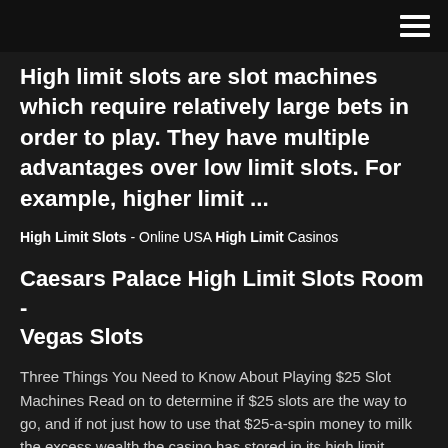High limit slots are slot machines which require relatively large bets in order to play. They have multiple advantages over low limit slots. For example, higher limit ...
High Limit Slots - Online USA High Limit Casinos
Caesars Palace High Limit Slots Room - Vegas Slots
Three Things You Need to Know About Playing $25 Slot Machines Read on to determine if $25 slots are the way to go, and if not just how to use that $25-a-spin money to milk the excess wealth the casino has stored in its high limit repositories. 1. Playing $25 Slot Machines Equals More